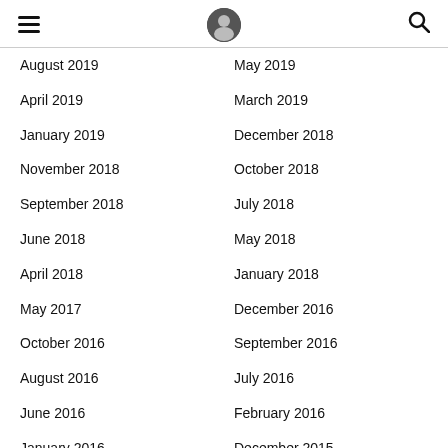☰ [logo] 🔍
August 2019
May 2019
April 2019
March 2019
January 2019
December 2018
November 2018
October 2018
September 2018
July 2018
June 2018
May 2018
April 2018
January 2018
May 2017
December 2016
October 2016
September 2016
August 2016
July 2016
June 2016
February 2016
January 2016
December 2015